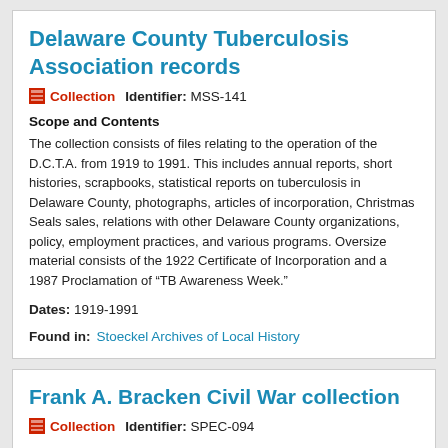Delaware County Tuberculosis Association records
Collection   Identifier: MSS-141
Scope and Contents
The collection consists of files relating to the operation of the D.C.T.A. from 1919 to 1991. This includes annual reports, short histories, scrapbooks, statistical reports on tuberculosis in Delaware County, photographs, articles of incorporation, Christmas Seals sales, relations with other Delaware County organizations, policy, employment practices, and various programs. Oversize material consists of the 1922 Certificate of Incorporation and a 1987 Proclamation of “TB Awareness Week.”
Dates: 1919-1991
Found in: Stoeckel Archives of Local History
Frank A. Bracken Civil War collection
Collection   Identifier: SPEC-094